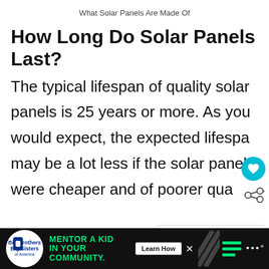What Solar Panels Are Made Of
How Long Do Solar Panels Last?
The typical lifespan of quality solar panels is 25 years or more. As you would expect, the expected lifespan may be a lot less if the solar panels were cheaper and of poorer quality.